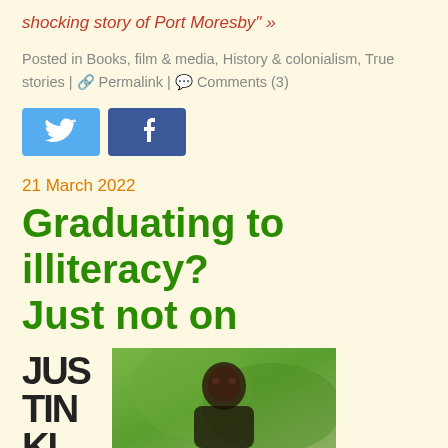shocking story of Port Moresby" »
Posted in Books, film & media, History & colonialism, True stories | 🔗 Permalink | 💬 Comments (3)
[Figure (other): Twitter and Facebook social share buttons]
21 March 2022
Graduating to illiteracy? Just not on
[Figure (photo): Photo of a young man outdoors with blurred green background, partially obscured by drop cap text reading 'JUSTIN KI...']